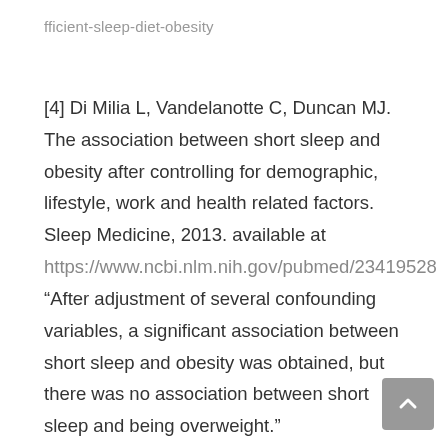fficient-sleep-diet-obesity
[4] Di Milia L, Vandelanotte C, Duncan MJ. The association between short sleep and obesity after controlling for demographic, lifestyle, work and health related factors. Sleep Medicine, 2013. available at https://www.ncbi.nlm.nih.gov/pubmed/23419528 “After adjustment of several confounding variables, a significant association between short sleep and obesity was obtained, but there was no association between short sleep and being overweight.”